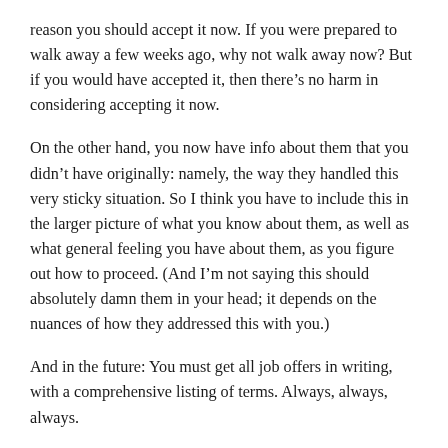reason you should accept it now. If you were prepared to walk away a few weeks ago, why not walk away now? But if you would have accepted it, then there’s no harm in considering accepting it now.
On the other hand, you now have info about them that you didn’t have originally: namely, the way they handled this very sticky situation. So I think you have to include this in the larger picture of what you know about them, as well as what general feeling you have about them, as you figure out how to proceed. (And I’m not saying this should absolutely damn them in your head; it depends on the nuances of how they addressed this with you.)
And in the future: You must get all job offers in writing, with a comprehensive listing of terms. Always, always, always.
YOU MAY ALSO LIKE: